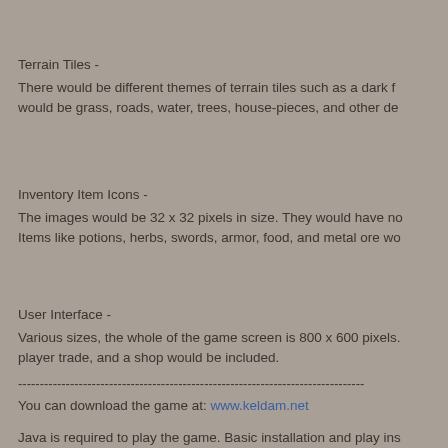Terrain Tiles -
There would be different themes of terrain tiles such as a dark f would be grass, roads, water, trees, house-pieces, and other de
Inventory Item Icons -
The images would be 32 x 32 pixels in size.  They would have no Items like potions, herbs, swords, armor, food, and metal ore wo
User Interface -
Various sizes, the whole of the game screen is 800 x 600 pixels. player trade, and a shop would be included.
------------------------------------------------------------------------
You can download the game at: www.keldam.net
Java is required to play the game.  Basic installation and play ins